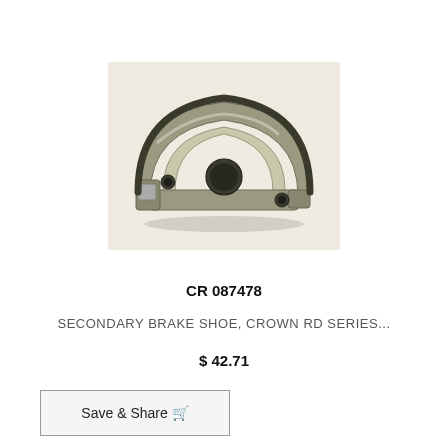[Figure (photo): A brake shoe part — a curved metallic component (secondary brake shoe) with a semi-circular arc shape, featuring mounting holes and a dark friction lining along the curved edge.]
CR 087478
SECONDARY BRAKE SHOE, CROWN RD SERIES...
$ 42.71
Save & Share